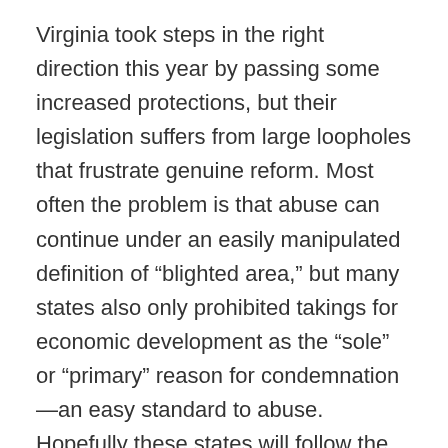Virginia took steps in the right direction this year by passing some increased protections, but their legislation suffers from large loopholes that frustrate genuine reform. Most often the problem is that abuse can continue under an easily manipulated definition of “blighted area,” but many states also only prohibited takings for economic development as the “sole” or “primary” reason for condemnation—an easy standard to abuse. Hopefully these states will follow the lead of Alabama and close those loopholes next year.
Voters may also see eminent domain reform on the ballot in Arizona, California, Colorado, Missouri, Montana, Nevada and Oklahoma. In these states,